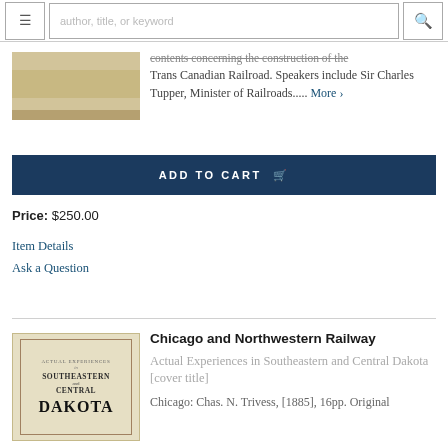author, title, or keyword [search bar with menu and search icons]
[Figure (photo): Partial view of a book or pamphlet cover, showing a tan/brown horizontal strip at the top of the image]
...contents concerning the construction of the Trans Canadian Railroad. Speakers include Sir Charles Tupper, Minister of Railroads..... More >
ADD TO CART
Price: $250.00
Item Details
Ask a Question
[Figure (photo): Book cover for 'Actual Experiences in Southeastern and Central Dakota' showing the title text on a tan/cream background with a decorative border]
Chicago and Northwestern Railway
Actual Experiences in Southeastern and Central Dakota [cover title]
Chicago: Chas. N. Trivess, [1885], 16pp. Original